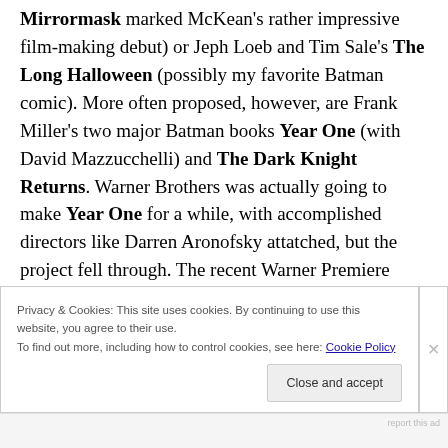Mirrormask marked McKean's rather impressive film-making debut) or Jeph Loeb and Tim Sale's The Long Halloween (possibly my favorite Batman comic). More often proposed, however, are Frank Miller's two major Batman books Year One (with David Mazzucchelli) and The Dark Knight Returns. Warner Brothers was actually going to make Year One for a while, with accomplished directors like Darren Aronofsky attatched, but the project fell through. The recent Warner Premiere direct-to-disc animated films have been going the comic adaptation
Privacy & Cookies: This site uses cookies. By continuing to use this website, you agree to their use.
To find out more, including how to control cookies, see here: Cookie Policy